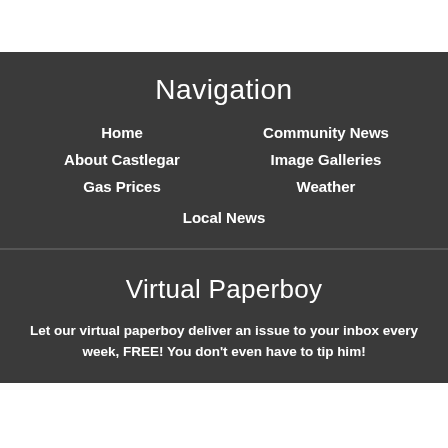Navigation
Home
About Castlegar
Gas Prices
Community News
Image Galleries
Weather
Local News
Virtual Paperboy
Let our virtual paperboy deliver an issue to your inbox every week, FREE! You don't even have to tip him!